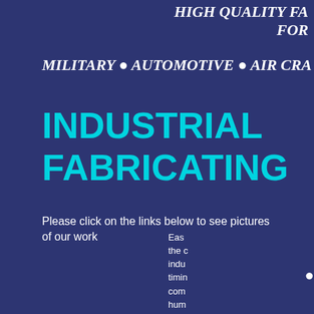HIGH QUALITY FA... FOR ...
MILITARY ● AUTOMOTIVE ● AIR CRA...
INDUSTRIAL FABRICATING
Please click on the links below to see pictures of our work
●
Eas... the ... indu... timin... com... hum...